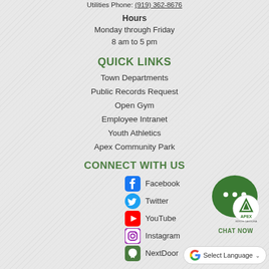Utilities Phone: (919) 362-8676
Hours
Monday through Friday
8 am to 5 pm
QUICK LINKS
Town Departments
Public Records Request
Open Gym
Employee Intranet
Youth Athletics
Apex Community Park
CONNECT WITH US
Facebook
Twitter
YouTube
Instagram
NextDoor
[Figure (logo): Apex chat now widget with green speech bubble and Apex logo]
[Figure (other): Google Translate select language button]